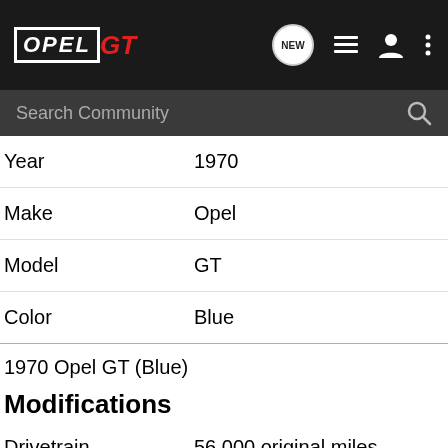[Figure (screenshot): Opel GT community website navigation bar with logo, NEW chat bubble icon, list icon, user icon, and menu icon on dark background]
[Figure (screenshot): Search Community search bar on dark grey background]
| Year | 1970 |
| Make | Opel |
| Model | GT |
| Color | Blue |
1970 Opel GT (Blue)
Modifications
| Drivetrain | 56,000 original miles |
| Exterior | 1970 ET wheels
Stainless steel bumpers |